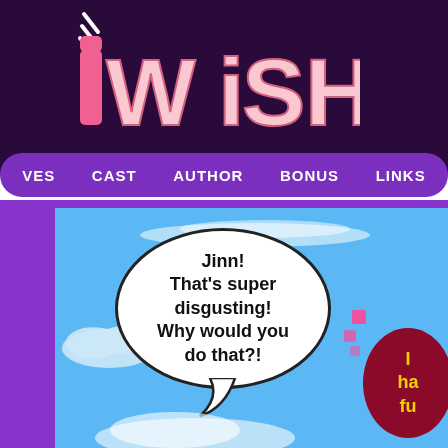[Figure (screenshot): iWiSH webcomic website header with logo and navigation bar, showing a comic panel with a speech bubble saying 'Jinn! That's super disgusting! Why would you do that?!']
iWiSH
VES  CAST  AUTHOR  BONUS  LINKS
[Figure (illustration): Comic panel with blue sky background, clouds, speech bubble containing 'Jinn! That’s super disgusting! Why would you do that?!' and a dark red circular shape with yellow text partially visible reading 'I ha fu']